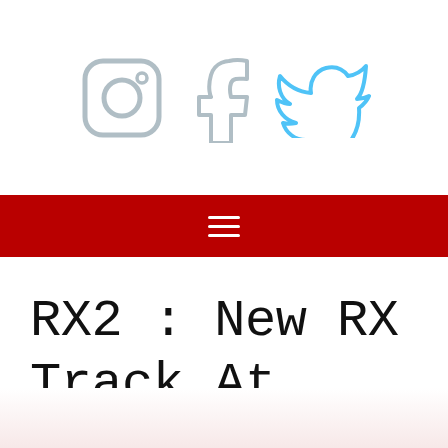[Figure (illustration): Social media icons: Instagram, Facebook, Twitter in light blue/grey outline style]
Navigation bar with hamburger menu icon on red background
RX2 : New RX Track At Silverstone Revealed